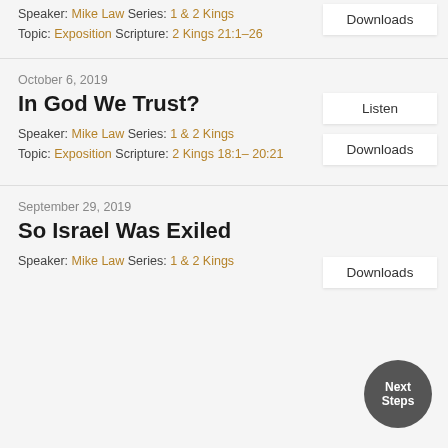Speaker: Mike Law Series: 1 & 2 Kings Topic: Exposition Scripture: 2 Kings 21:1–26
Downloads
October 6, 2019
In God We Trust?
Speaker: Mike Law Series: 1 & 2 Kings Topic: Exposition Scripture: 2 Kings 18:1– 20:21
Listen
Downloads
September 29, 2019
So Israel Was Exiled
Speaker: Mike Law Series: 1 & 2 Kings
Downloads
Next Steps